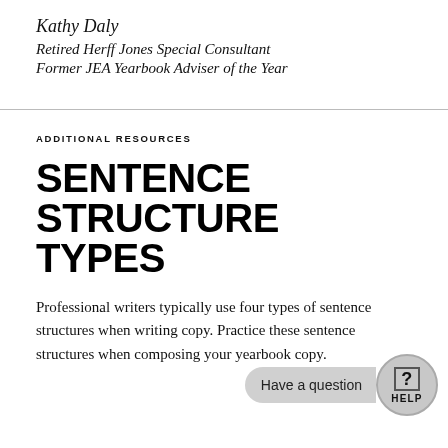Kathy Daly
Retired Herff Jones Special Consultant
Former JEA Yearbook Adviser of the Year
ADDITIONAL RESOURCES
SENTENCE STRUCTURE TYPES
Professional writers typically use four types of sentence structures when writing copy. Practice these sentence structures when composing your yearbook copy.